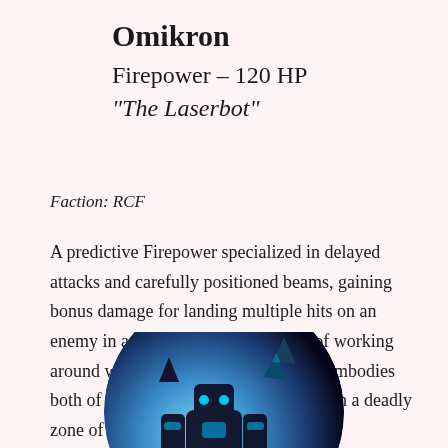Omikron
Firepower – 120 HP
“The Laserbot”
Faction: RCF
A predictive Firepower specialized in delayed attacks and carefully positioned beams, gaining bonus damage for landing multiple hits on an enemy in a single turn. He’s capable of working around walls as well, and his ultimate embodies both of these key features as it lays down a deadly zone of control for next turn.
[Figure (illustration): Circular cropped illustration of Omikron, a robotic character with glowing blue accents, dark armor, and crystal-like structures, set against a blue glowing background.]